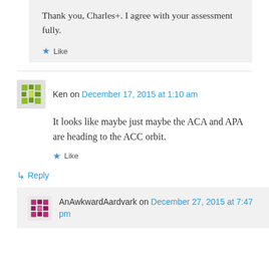Thank you, Charles+. I agree with your assessment fully.
Like
Ken on December 17, 2015 at 1:10 am
It looks like maybe just maybe the ACA and APA are heading to the ACC orbit.
Like
Reply
AnAwkwardAardvark on December 27, 2015 at 7:47 pm